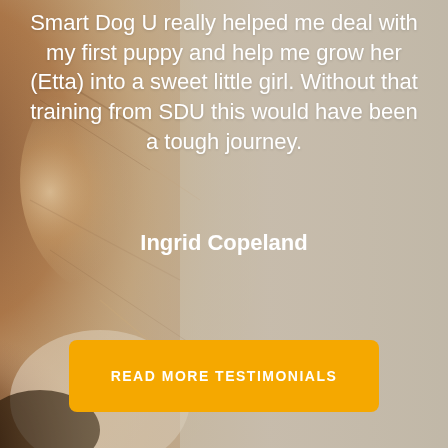[Figure (photo): Close-up blurred photo of a dog's head (brown and white fur), used as a background image covering the left portion of the page.]
Smart Dog U really helped me deal with my first puppy and help me grow her (Etta) into a sweet little girl. Without that training from SDU this would have been a tough journey.
Ingrid Copeland
READ MORE TESTIMONIALS